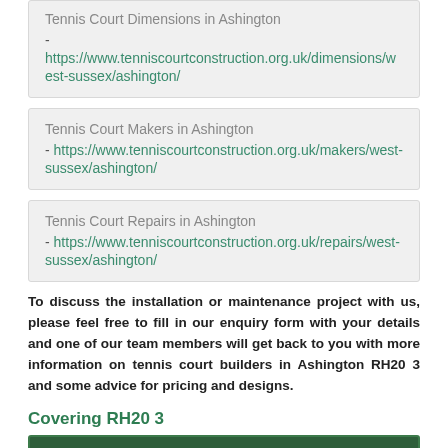Tennis Court Dimensions in Ashington - https://www.tenniscourtconstruction.org.uk/dimensions/west-sussex/ashington/
Tennis Court Makers in Ashington - https://www.tenniscourtconstruction.org.uk/makers/west-sussex/ashington/
Tennis Court Repairs in Ashington - https://www.tenniscourtconstruction.org.uk/repairs/west-sussex/ashington/
To discuss the installation or maintenance project with us, please feel free to fill in our enquiry form with your details and one of our team members will get back to you with more information on tennis court builders in Ashington RH20 3 and some advice for pricing and designs.
Covering RH20 3
[Figure (photo): Tennis court image]